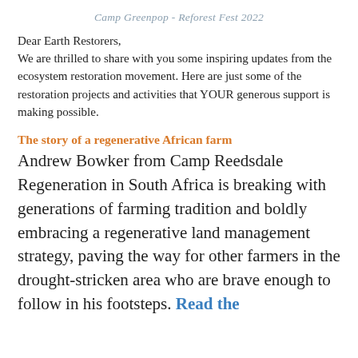Camp Greenpop - Reforest Fest 2022
Dear Earth Restorers,
We are thrilled to share with you some inspiring updates from the ecosystem restoration movement. Here are just some of the restoration projects and activities that YOUR generous support is making possible.
The story of a regenerative African farm
Andrew Bowker from Camp Reedsdale Regeneration in South Africa is breaking with generations of farming tradition and boldly embracing a regenerative land management strategy, paving the way for other farmers in the drought-stricken area who are brave enough to follow in his footsteps. Read the